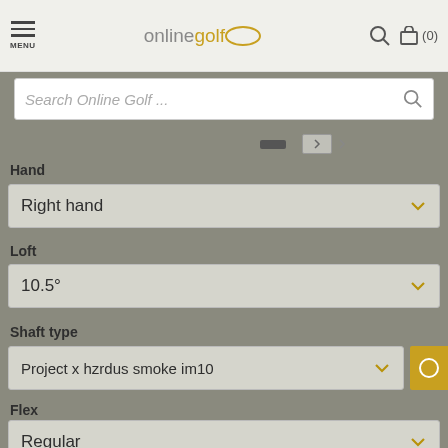MENU | onlinegolf | search | cart (0)
Search Online Golf ...
Hand
Right hand
Loft
10.5°
Shaft type
Project x hzrdus smoke im10
Flex
Regular